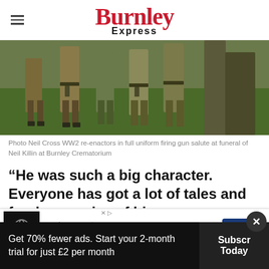Burnley Express
[Figure (photo): WW2 re-enactors in full uniform, lower half of group visible, wearing olive and khaki military uniforms, standing on grass]
Photo Neil Cross WW2 re-enactors in full uniform firing gun salute at funeral of Neil Killin at Burnley Crematorium
“He was such a big character. Everyone has got a lot of tales and fond memories of him.
“He h... uniforms and really wanted to keep then